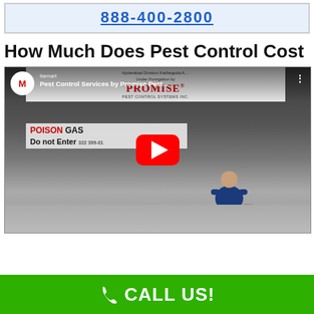888-400-2800
How Much Does Pest Control Cost
[Figure (screenshot): YouTube video thumbnail showing Pest Control Services by Promise Pest. The thumbnail shows a warehouse scene with a banner reading 'PROMISE PEST CONTROL SYSTEMS INC' and a warning sign 'POISON GAS Do not Enter'. A person in blue uniform is crouching near the sign. A red YouTube play button is centered on the image. The video is from the 'liamart' channel.]
CALL US!